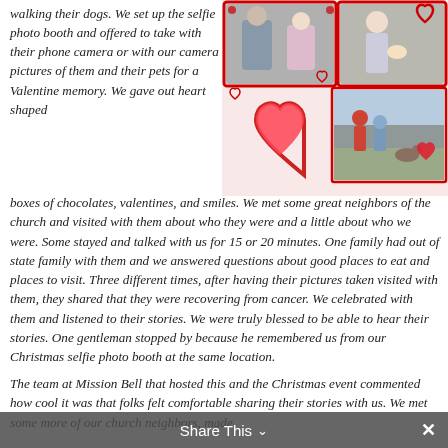walking their dogs. We set up the selfie photo booth and offered to take with their phone camera or with our camera pictures of them and their pets for a Valentine memory. We gave out heart shaped boxes of chocolates, valentines, and smiles. We met some great neighbors of the church and visited with them about who they were and a little about who we were. Some stayed and talked with us for 15 or 20 minutes. One family had out of state family with them and we answered questions about good places to eat and places to visit. Three different times, after having their pictures taken visited with them, they shared that they were recovering from cancer. We celebrated with them and listened to their stories. We were truly blessed to be able to hear their stories. One gentleman stopped by because he remembered us from our Christmas selfie photo booth at the same location.
[Figure (photo): Photo collage of Valentine's Day selfie photo booth with people and pets, decorated with red heart frames and heart decorations]
The team at Mission Bell that hosted this and the Christmas event commented how cool it was that folks felt comfortable sharing their stories with us. We met some more of our church neighbors, made